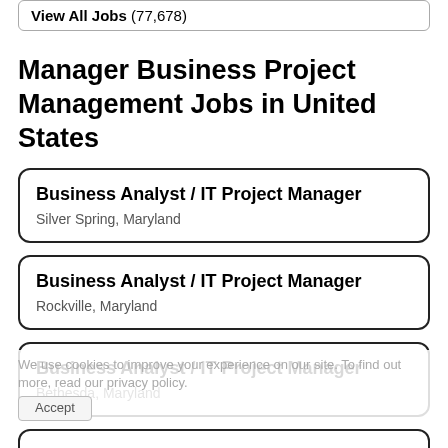View All Jobs (77,678)
Manager Business Project Management Jobs in United States
Business Analyst / IT Project Manager — Silver Spring, Maryland
Business Analyst / IT Project Manager — Rockville, Maryland
Business Analyst / IT Project Manager — Bethesda, Maryland
Business Analyst / IT Project Manager — Bowie, Maryland
Business Analyst / IT Project Manager
We use cookies to improve your experience on our site. To find out more, read our privacy policy. Accept